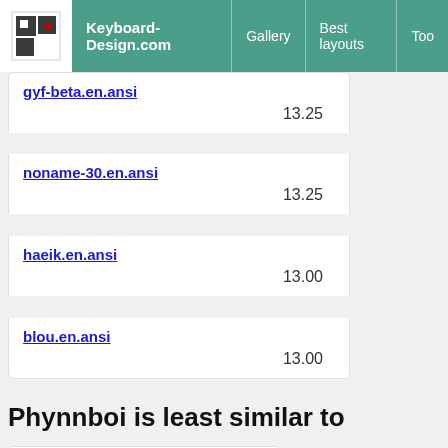Keyboard-Design.com | Gallery | Best layouts | Too
gyf-beta.en.ansi
13.25
noname-30.en.ansi
13.25
haeik.en.ansi
13.00
blou.en.ansi
13.00
Phynnboi is least similar to
| Layout |
| --- |